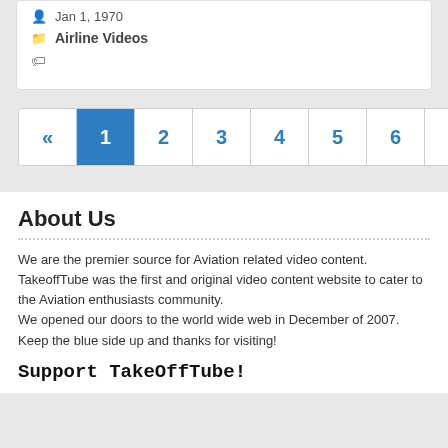Jan 1, 1970
Airline Videos
« 1 2 3 4 5 6 »
About Us
We are the premier source for Aviation related video content. TakeoffTube was the first and original video content website to cater to the Aviation enthusiasts community.
We opened our doors to the world wide web in December of 2007.
Keep the blue side up and thanks for visiting!
Support TakeOffTube!